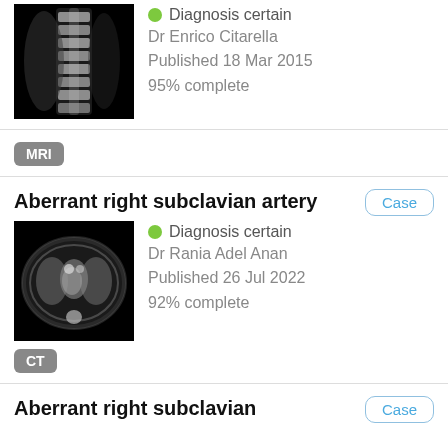[Figure (photo): MRI spine sagittal image, grayscale on black background]
Diagnosis certain
Dr Enrico Citarella
Published 18 Mar 2015
95% complete
MRI
Aberrant right subclavian artery
Case
[Figure (photo): CT chest axial image, grayscale on black background]
Diagnosis certain
Dr Rania Adel Anan
Published 26 Jul 2022
92% complete
CT
Aberrant right subclavian
Case